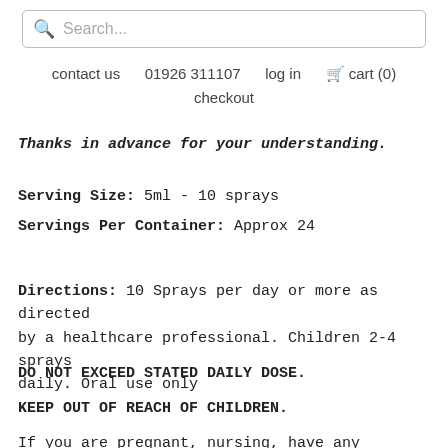Search...
contact us   01926 311107   log in   cart (0)   checkout
Thanks in advance for your understanding.
Serving Size: 5ml - 10 sprays
Servings Per Container: Approx 24
Directions: 10 Sprays per day or more as directed by a healthcare professional. Children 2-4 sprays daily. Oral use only
DO NOT EXCEED STATED DAILY DOSE.
KEEP OUT OF REACH OF CHILDREN.
If you are pregnant, nursing, have any allergic